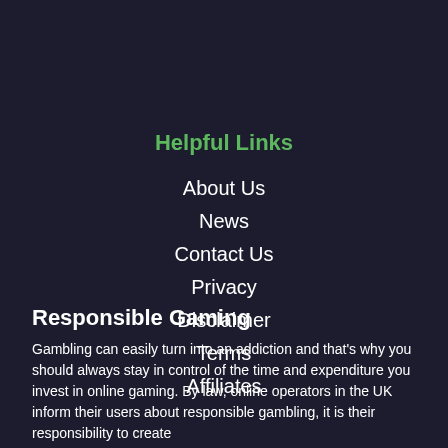Helpful Links
About Us
News
Contact Us
Privacy
Disclaimer
Terms
Affiliates
Responsible Gaming
Gambling can easily turn into an addiction and that's why you should always stay in control of the time and expenditure you invest in online gaming. By law, online operators in the UK inform their users about responsible gambling, it is their responsibility to create